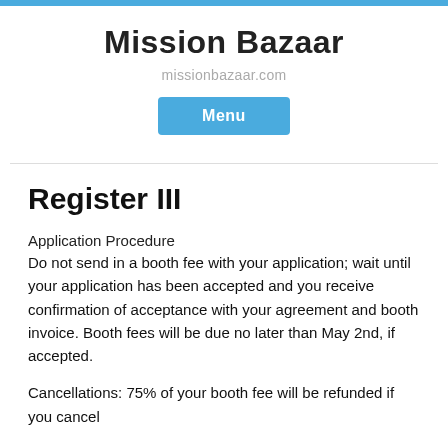Mission Bazaar
missionbazaar.com
[Figure (other): Blue 'Menu' button]
Register III
Application Procedure
Do not send in a booth fee with your application; wait until your application has been accepted and you receive confirmation of acceptance with your agreement and booth invoice. Booth fees will be due no later than May 2nd, if accepted.
Cancellations: 75% of your booth fee will be refunded if you cancel